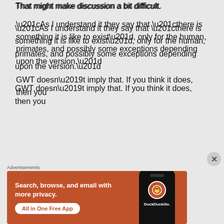That might make discussion a bit difficult.

“As I understand it they say that “there is something it is like to exist”, only for the human, primates, and possibly some exceptions depending upon the version.”

GWT doesn’t imply that. If you think it does, then you
Advertisements
[Figure (other): DuckDuckGo advertisement banner with orange background. Text reads: 'Search, browse, and email with more privacy. All in One Free App'. Shows a phone mockup with DuckDuckGo logo and brand name.]